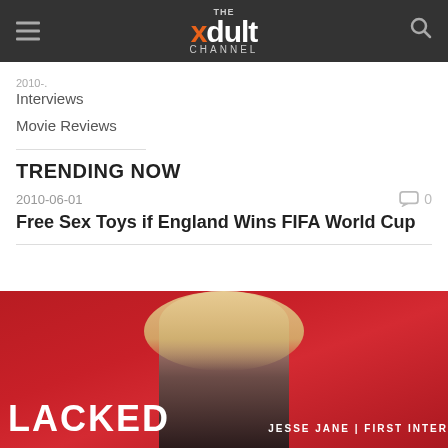THE xdult CHANNEL
Interviews
Movie Reviews
TRENDING NOW
2010-06-01   0
Free Sex Toys if England Wins FIFA World Cup
[Figure (photo): Promotional image with red background showing a blonde woman in black outfit, with text 'LACKED' and 'JESSE JANE | FIRST INTER' visible]